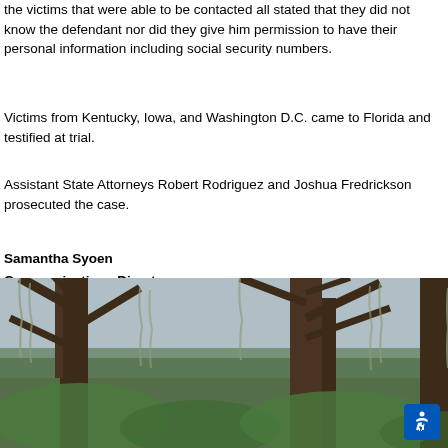the victims that were able to be contacted all stated that they did not know the defendant nor did they give him permission to have their personal information including social security numbers.
Victims from Kentucky, Iowa, and Washington D.C. came to Florida and testified at trial.
Assistant State Attorneys Robert Rodriguez and Joshua Fredrickson prosecuted the case.
Samantha Syoen
Communications Director
State Attorney's Office
239-533-1125
ssyoen@sao20.org
[Figure (photo): Photograph of Florida cypress or oak trees with Spanish moss hanging from branches, against a gray sky background.]